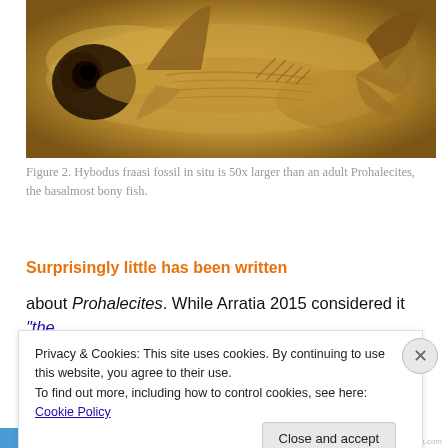[Figure (photo): Photograph of a Hybodus fraasi fossil in situ, showing a fish fossil embedded in rock matrix with visible head, fin spines, and tail.]
Figure 2. Hybodus fraasi fossil in situ is 50x larger than an adult Prohalecites, the basalmost bony fish.
Surprisingly little has been written
about Prohalecites. While Arratia 2015 considered it "the oldest of the Teleostii" she did not mention it in her landmark...
Privacy & Cookies: This site uses cookies. By continuing to use this website, you agree to their use.
To find out more, including how to control cookies, see here: Cookie Policy